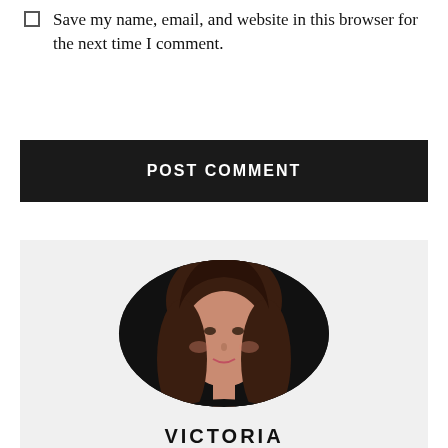Save my name, email, and website in this browser for the next time I comment.
POST COMMENT
[Figure (photo): Circular profile photo of a woman with long brown hair, against a dark background. Label 'VICTORIA' appears below.]